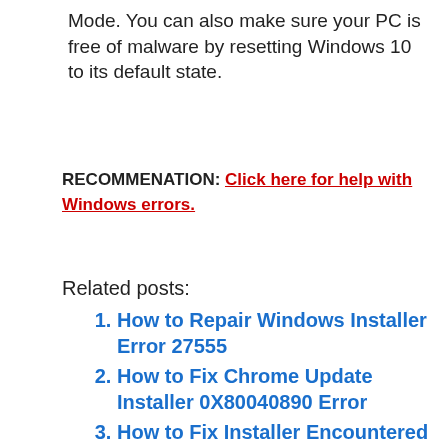Mode. You can also make sure your PC is free of malware by resetting Windows 10 to its default state.
RECOMMENATION: Click here for help with Windows errors.
Related posts:
How to Repair Windows Installer Error 27555
How to Fix Chrome Update Installer 0X80040890 Error
How to Fix Installer Encountered an Error 0x80240009
Fixing NSSTATUS Error Code 0xc0000003